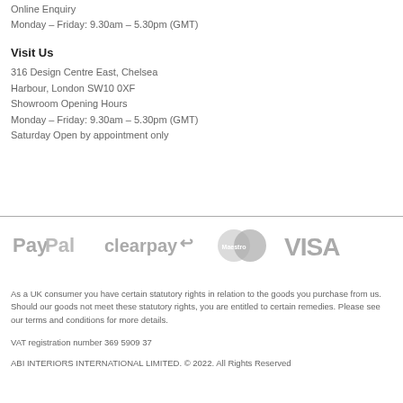Online Enquiry
Monday – Friday: 9.30am – 5.30pm (GMT)
Visit Us
316 Design Centre East, Chelsea
Harbour, London SW10 0XF
Showroom Opening Hours
Monday – Friday: 9.30am – 5.30pm (GMT)
Saturday Open by appointment only
[Figure (logo): Payment method logos: PayPal, Clearpay, Maestro, VISA displayed in grey]
As a UK consumer you have certain statutory rights in relation to the goods you purchase from us. Should our goods not meet these statutory rights, you are entitled to certain remedies. Please see our terms and conditions for more details.
VAT registration number 369 5909 37
ABI INTERIORS INTERNATIONAL LIMITED. © 2022. All Rights Reserved